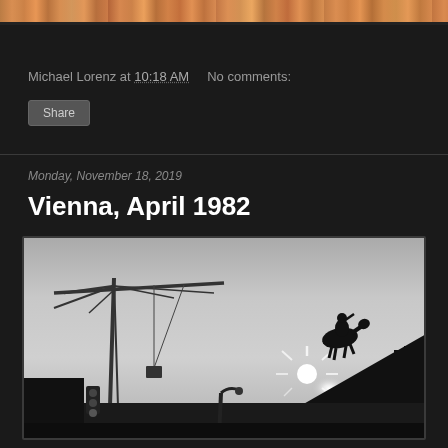[Figure (photo): Colorful image strip at top of blog page showing collage of small photos]
Michael Lorenz at 10:18 AM    No comments:
Share
Monday, November 18, 2019
Vienna, April 1982
[Figure (photo): Black and white photograph of Vienna in April 1982 showing construction crane silhouette on the left, equestrian statue silhouette on the right against a bright sky with sun, and dark street-level details at the bottom]